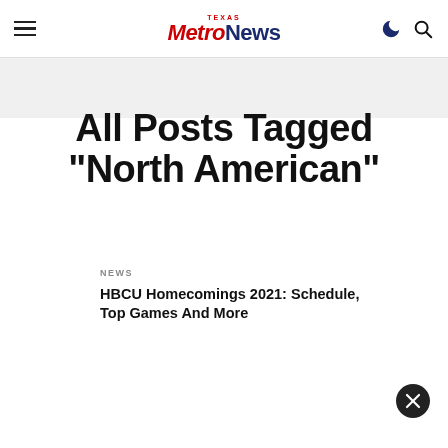Texas Metro News
All Posts Tagged "North American"
NEWS
HBCU Homecomings 2021: Schedule, Top Games And More